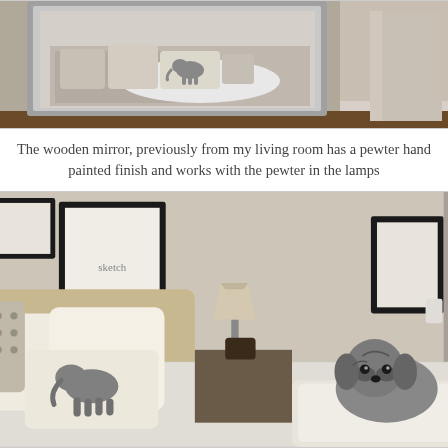[Figure (photo): A framed wooden mirror with a pewter hand-painted finish mounted on a wall, reflecting a bed with decorative pillows including an elephant-print pillow, a patterned duvet, and a fluffy white throw. The room has neutral tones.]
The wooden mirror, previously from my living room has a pewter hand painted finish and works with the pewter in the lamps
[Figure (photo): A bedroom scene with a bed featuring cream and white pillows including an elephant-print decorative pillow, a patterned headboard, a bedside lamp on a small table, framed artwork on the walls, and a small grey dog sitting on an ottoman at the foot of the bed.]